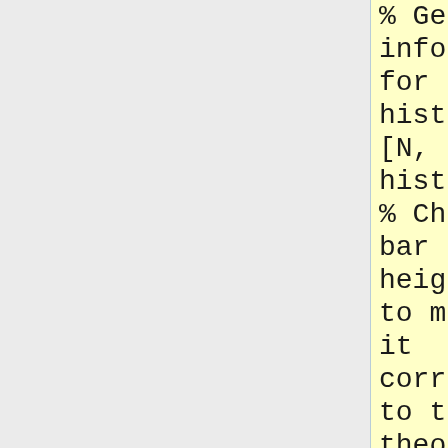% Get the information for the histogram.
[N, h] = hist(X,10);
% Change bar heights to make it correspond to the theoretical density.
N = N/(h(2)-h(1))/n;
% Do the plots.
bar(h,N,1,'w')
% hold on